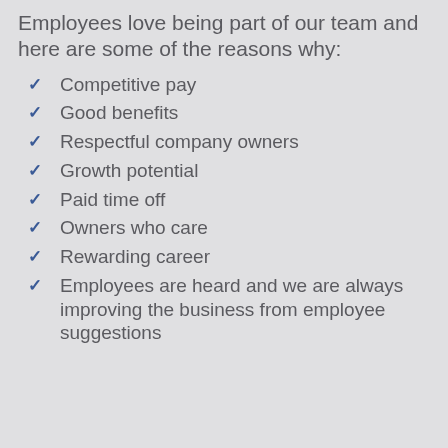Employees love being part of our team and here are some of the reasons why:
Competitive pay
Good benefits
Respectful company owners
Growth potential
Paid time off
Owners who care
Rewarding career
Employees are heard and we are always improving the business from employee suggestions